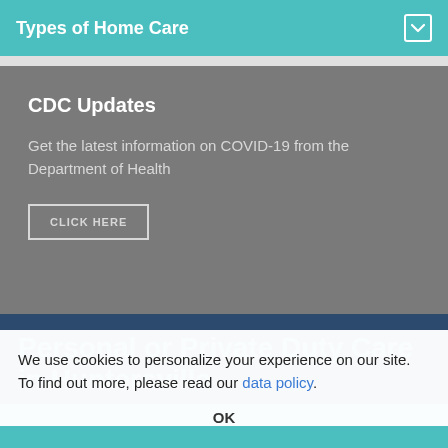Types of Home Care
CDC Updates
Get the latest information on COVID-19 from the Department of Health
CLICK HERE
Personal or Private Duty Care in Huntersville
Do you have an elderly or disabled parent who is living alone? Does your loved one frequently need help from yourself or other family members? Do you fear your loved one would be
We use cookies to personalize your experience on our site. To find out more, please read our data policy.
OK